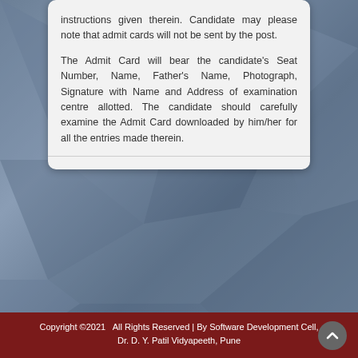instructions given therein. Candidate may please note that admit cards will not be sent by the post.
The Admit Card will bear the candidate's Seat Number, Name, Father's Name, Photograph, Signature with Name and Address of examination centre allotted. The candidate should carefully examine the Admit Card downloaded by him/her for all the entries made therein.
Copyright ©2021   All Rights Reserved | By Software Development Cell, Dr. D. Y. Patil Vidyapeeth, Pune